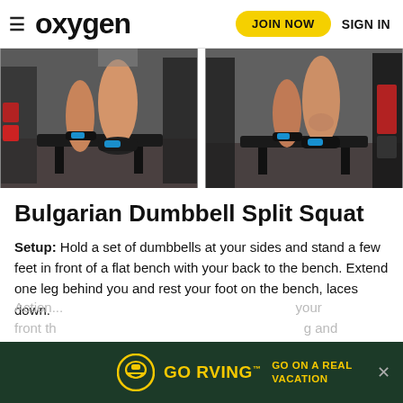oxygen — JOIN NOW  SIGN IN
[Figure (photo): Two side-by-side gym photos showing legs performing a Bulgarian split squat on a flat bench, wearing blue sneakers, gym equipment in background.]
Bulgarian Dumbbell Split Squat
Setup: Hold a set of dumbbells at your sides and stand a few feet in front of a flat bench with your back to the bench. Extend one leg behind you and rest your foot on the bench, laces down.
Action ... your front th... g and
[Figure (other): GO RVING advertisement banner: dark green background, yellow GO RVING logo with RV helmet icon, text 'GO ON A REAL VACATION', close X button.]